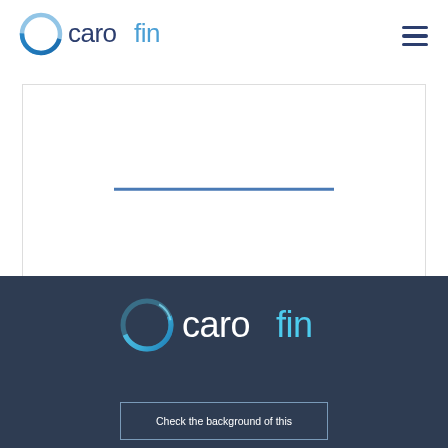[Figure (logo): Carofin logo in header: circular ring icon in blue gradient next to 'caro' in dark navy and 'fin' in lighter blue text]
[Figure (other): Hamburger menu icon (three horizontal dark navy lines) in top right corner]
[Figure (other): White content box with a horizontal blue divider line in the middle]
[Figure (logo): Carofin logo in footer on dark navy background: circular ring icon in blue gradient next to 'caro' in white and 'fin' in light blue text]
Check the background of this